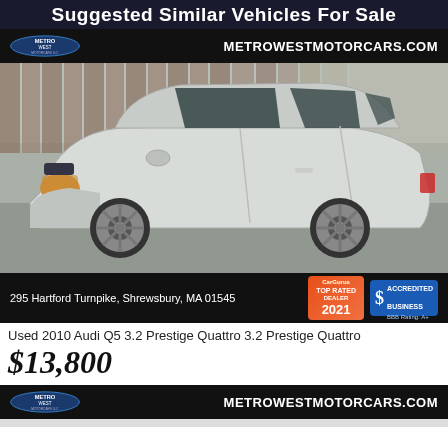Suggested Similar Vehicles For Sale
METROWESTMOTORCARS.COM
[Figure (photo): Silver Audi Q5 SUV parked on a driveway, side profile view, showing alloy wheels and sunroof]
295 Hartford Turnpike, Shrewsbury, MA 01545
Used 2010 Audi Q5 3.2 Prestige Quattro 3.2 Prestige Quattro
$13,800
METROWESTMOTORCARS.COM